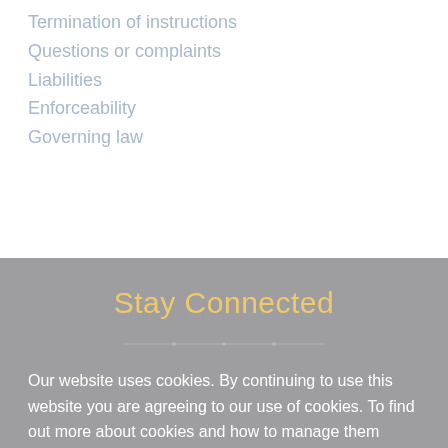Termination of instructions
Questions or complaints
Liabilities
Enforceability
Governing law
Stay Connected
Our website uses cookies. By continuing to use this website you are agreeing to our use of cookies. To find out more about cookies and how to manage them